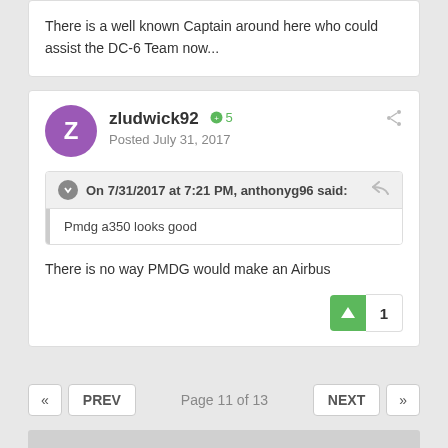There is a well known Captain around here who could assist the DC-6 Team now...
zludwick92  +5
Posted July 31, 2017
On 7/31/2017 at 7:21 PM, anthonyg96 said:
Pmdg a350 looks good
There is no way PMDG would make an Airbus
« PREV   Page 11 of 13   NEXT »